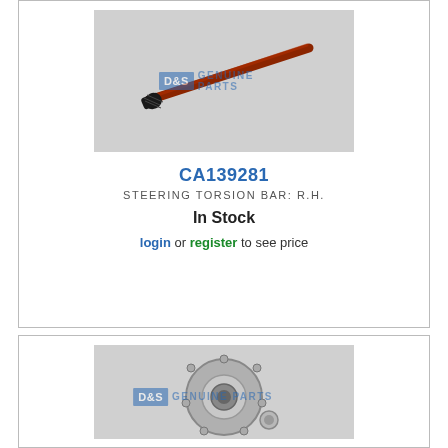[Figure (photo): Steering torsion bar product photo (red/rust colored bar with black splined end) on grey background with D&S Genuine Parts watermark]
CA139281
STEERING TORSION BAR: R.H.
In Stock
login or register to see price
[Figure (photo): Steering hub/bearing assembly product photo (circular metal hub with bolts and bearing) on grey background with D&S Genuine Parts watermark]